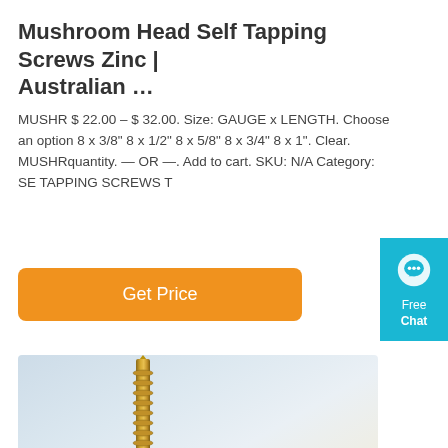Mushroom Head Self Tapping Screws Zinc | Australian …
MUSHR $ 22.00 – $ 32.00. Size: GAUGE x LENGTH. Choose an option 8 x 3/8" 8 x 1/2" 8 x 5/8" 8 x 3/4" 8 x 1". Clear. MUSHRquantity. — OR —. Add to cart. SKU: N/A Category: SE TAPPING SCREWS T
[Figure (other): Orange 'Get Price' button]
[Figure (other): Blue chat widget with speech bubble icon, labeled 'Free Chat']
[Figure (photo): Photo of a brass/gold mushroom head self-tapping screw standing upright on a reflective surface with MONSUN watermark]